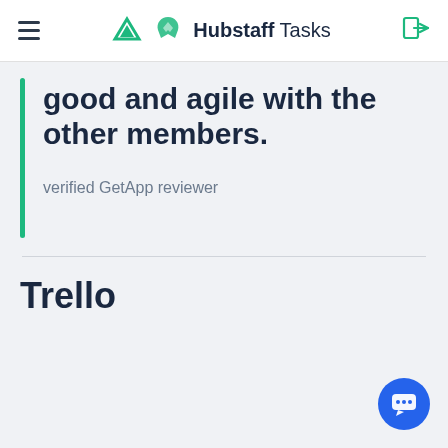Hubstaff Tasks
good and agile with the other members.
verified GetApp reviewer
Trello